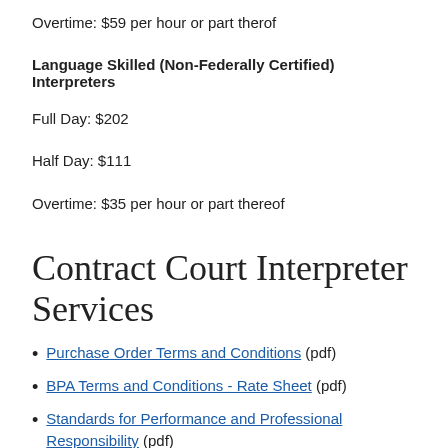Overtime: $59 per hour or part therof
Language Skilled (Non-Federally Certified) Interpreters
Full Day: $202
Half Day: $111
Overtime: $35 per hour or part thereof
Contract Court Interpreter Services
Purchase Order Terms and Conditions (pdf)
BPA Terms and Conditions - Rate Sheet (pdf)
Standards for Performance and Professional Responsibility (pdf)